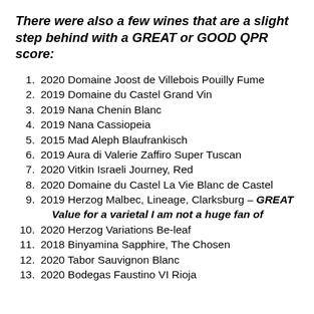There were also a few wines that are a slight step behind with a GREAT or GOOD QPR score:
2020 Domaine Joost de Villebois Pouilly Fume
2019 Domaine du Castel Grand Vin
2019 Nana Chenin Blanc
2019 Nana Cassiopeia
2015 Mad Aleph Blaufrankisch
2019 Aura di Valerie Zaffiro Super Tuscan
2020 Vitkin Israeli Journey, Red
2020 Domaine du Castel La Vie Blanc de Castel
2019 Herzog Malbec, Lineage, Clarksburg – GREAT Value for a varietal I am not a huge fan of
2020 Herzog Variations Be-leaf
2018 Binyamina Sapphire, The Chosen
2020 Tabor Sauvignon Blanc
2020 Bodegas Faustino VI Rioja